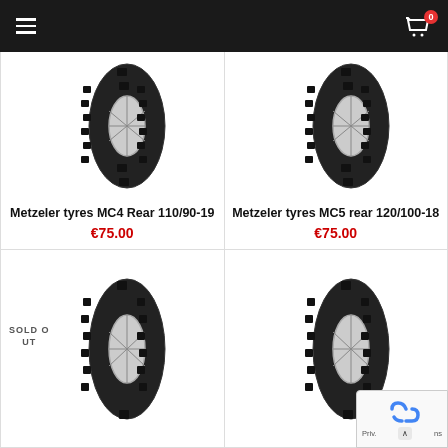[Figure (screenshot): E-commerce website showing motorcycle tires product grid with navigation bar]
Metzeler tyres MC4 Rear 110/90-19
€75.00
Metzeler tyres MC5 rear 120/100-18
€75.00
SOLD OUT